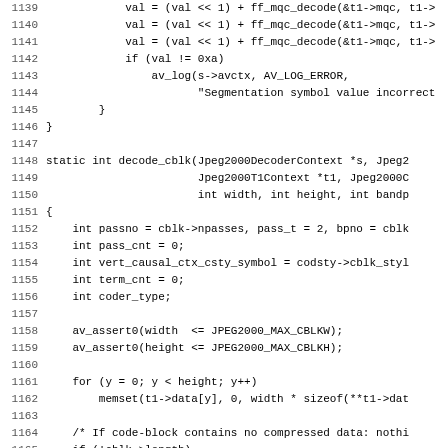[Figure (screenshot): Source code listing in monospace font showing C code for decode_cblk function (JPEG2000 decoder), lines 1139-1171. Left column shows line numbers, right column shows code with indentation.]